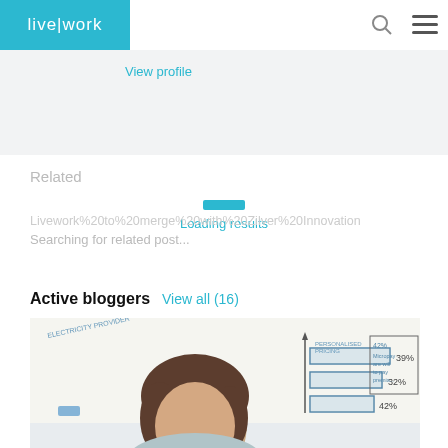live|work
View profile
Related
Loading results
Livework%20to%20merge%20with%20Zilver%20Innovation
Searching for related post...
Active bloggers
View all (16)
[Figure (photo): Woman standing in front of a whiteboard with charts showing percentages 39%, 32%, 42% and handwritten notes including ELECTRICITY PROVIDER, PERSONALISED PRICING]